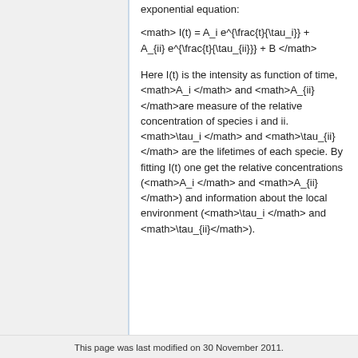exponential equation:
Here I(t) is the intensity as function of time, <math>A_i </math> and <math>A_{ii} </math>are measure of the relative concentration of species i and ii. <math>\tau_i </math> and <math>\tau_{ii} </math> are the lifetimes of each specie. By fitting I(t) one get the relative concentrations (<math>A_i </math> and <math>A_{ii}</math>) and information about the local environment (<math>\tau_i </math> and <math>\tau_{ii}</math>).
This page was last modified on 30 November 2011.